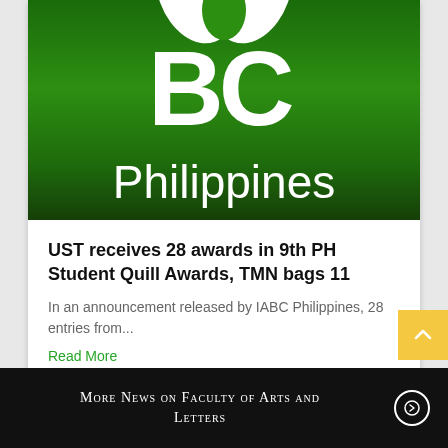[Figure (logo): IABC Philippines logo — green background with white 'BC' letters partially visible and 'Philippines' text below]
UST receives 28 awards in 9th PH Student Quill Awards, TMN bags 11
In an announcement released by IABC Philippines, 28 entries from...
Read More
More News on Faculty of Arts and Letters